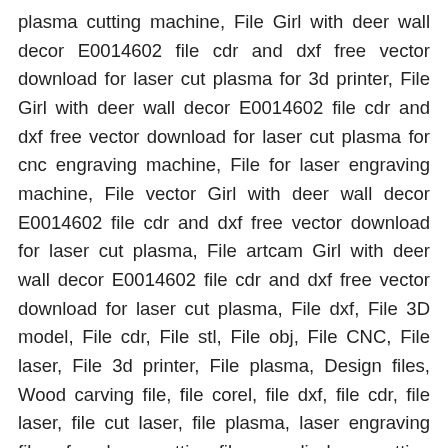plasma cutting machine, File Girl with deer wall decor E0014602 file cdr and dxf free vector download for laser cut plasma for 3d printer, File Girl with deer wall decor E0014602 file cdr and dxf free vector download for laser cut plasma for cnc engraving machine, File for laser engraving machine, File vector Girl with deer wall decor E0014602 file cdr and dxf free vector download for laser cut plasma, File artcam Girl with deer wall decor E0014602 file cdr and dxf free vector download for laser cut plasma, File dxf, File 3D model, File cdr, File stl, File obj, File CNC, File laser, File 3d printer, File plasma, Design files, Wood carving file, file corel, file dxf, file cdr, file laser, file cut laser, file plasma, laser engraving filen, free laser cutting files, acrylic laser cutting files, laser cutting files free download, free svg files for laser engraving, laser cutting templates, laser engraving files download, free 3d laser engraving files, svg laser cut files, laser cutting files free download, free laser engraving clipart, free vector files for laser engraving, free svg files for laser engraving, laser engraving images download, laser